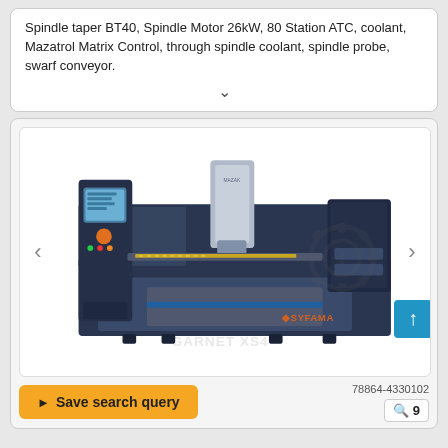Spindle taper BT40, Spindle Motor 26kW, 80 Station ATC, coolant, Mazatrol Matrix Control, through spindle coolant, spindle probe, swarf conveyor.
[Figure (photo): Photo of a SYFAMA GARNET XS4 CNC machining center — a large dark navy blue horizontal machining center with touch-screen control panel on the left, a vertical machining head in the center, and the brand logo on the front. A gear/wrench watermark appears on the right side of the machine. Navigation arrows are visible on left and right. A yellow 'Save search query' button and listing ID 78864-4330102 appear below the image.]